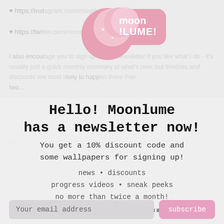♥ https://instagram.com/moonlume/ ♥
♥ https://twitter.com/moonlume/ ♥
I also encourage you to sign up for my newsletter if you like what I do - it's usually just a quick monthly summary of what's new, but freebies and discounts are most likely to happen there than two...
[Figure (logo): Moonlume pink logo with crescent moon and stars]
Hello! Moonlume has a newsletter now!
You get a 10% discount code and some wallpapers for signing up!
news • discounts
progress videos • sneak peeks
no more than twice a month!
YOU MAY ALSO LIKE
🌙 🌟☆: * . * :☆🌟🌙
Your email address
subscribe